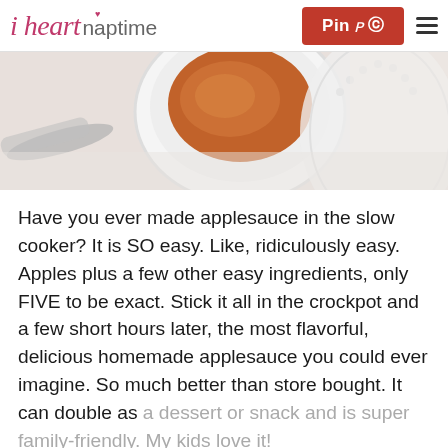i heart naptime | Pin | menu
[Figure (photo): Overhead photo of a white bowl with orange applesauce and a spoon on a white surface with a decorative plate]
Have you ever made applesauce in the slow cooker? It is SO easy. Like, ridiculously easy. Apples plus a few other easy ingredients, only FIVE to be exact. Stick it all in the crockpot and a few short hours later, the most flavorful, delicious homemade applesauce you could ever imagine. So much better than store bought. It can double as a dessert or snack and is super family-friendly. My kids love it!